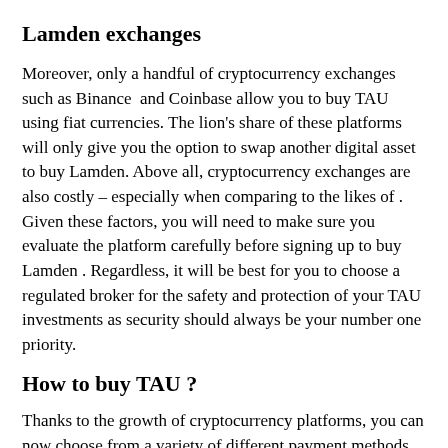Lamden exchanges
Moreover, only a handful of cryptocurrency exchanges such as Binance  and Coinbase allow you to buy TAU using fiat currencies. The lion's share of these platforms will only give you the option to swap another digital asset to buy Lamden. Above all, cryptocurrency exchanges are also costly – especially when comparing to the likes of . Given these factors, you will need to make sure you evaluate the platform carefully before signing up to buy Lamden . Regardless, it will be best for you to choose a regulated broker for the safety and protection of your TAU investments as security should always be your number one priority.
How to buy TAU ?
Thanks to the growth of cryptocurrency platforms, you can now choose from a variety of different payment methods to buy Lamden online. This includes:
Buy Lamden With Debit Card
Perhaps, using a debit card would be the easiest option for you to buy TAU .  This method allows you to process the transaction instantly and buy this digital asset right away. All the brokers we have listed above, allow you to buy Lamden using a debit card.